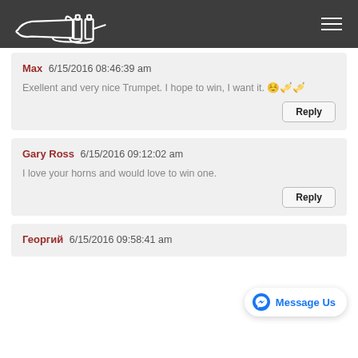Trumpet website header with logo and hamburger menu
Max  6/15/2016 08:46:39 am
Exellent and very nice Trumpet. I hope to win, I want it. 😊🎺🎺
Gary Ross  6/15/2016 09:12:02 am
I love your horns and would love to win one.
Георгий  6/15/2016 09:58:41 am